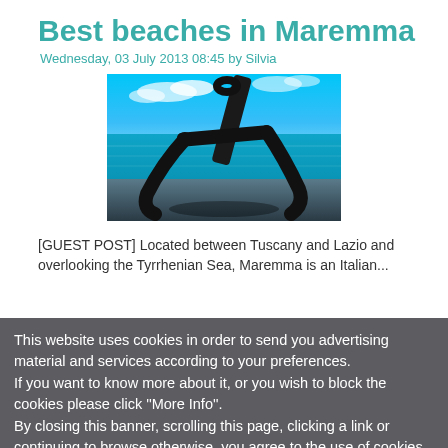Best beaches in Maremma
Wednesday, 03 July 2013 08:45 by Silvia
[Figure (photo): Beach scene with a dark driftwood anchor-shaped piece of wood in the foreground against a blue sea and sky]
[GUEST POST]  Located between Tuscany and Lazio and overlooking the Tyrrhenian Sea, Maremma is an Italian...
This website uses cookies in order to send you advertising material and services according to your preferences.
If you want to know more about it, or you wish to block the cookies please click ''More Info''.
By closing this banner, scrolling this page, clicking a link or continuing to browse otherwise, you agree to the use of cookies.
OK
MORE INFO